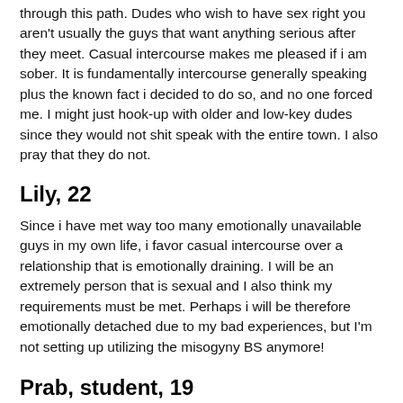through this path. Dudes who wish to have sex right you aren't usually the guys that want anything serious after they meet. Casual intercourse makes me pleased if i am sober. It is fundamentally intercourse generally speaking plus the known fact i decided to do so, and no one forced me. I might just hook-up with older and low-key dudes since they would not shit speak with the entire town. I also pray that they do not.
Lily, 22
Since i have met way too many emotionally unavailable guys in my own life, i favor casual intercourse over a relationship that is emotionally draining. I will be an extremely person that is sexual and I also think my requirements must be met. Perhaps i will be therefore emotionally detached due to my bad experiences, but I'm not setting up utilizing the misogyny BS anymore!
Prab, student, 19